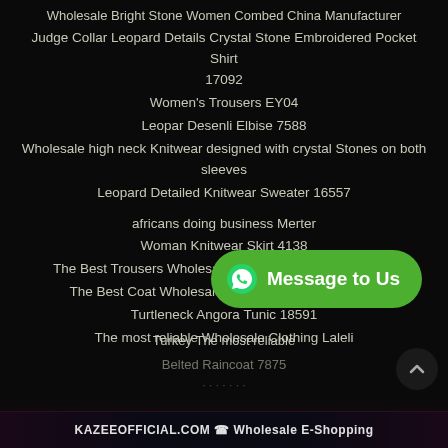Wholesale Bright Stone Women Combed China Manufacturer
Judge Collar Leopard Details Crystal Stone Embroidered Pocket Shirt 17092
Women's Trousers EY04
Leopar Desenli Elbise 7588
Wholesale high neck Knitwear designed with crystal Stones on both sleeves
Leopard Detailed Knitwear Sweater 16557
africans doing business Merter
Woman Knitwear Skirt 4138
The Best Trousers Wholesale Clothes Products in Turkey
The Best Coat Wholesale Clothes Products in Laleli
Turtleneck Angora Tunic 18591
The most reliable Wholesale Clothing Laleli
Turkey The most reliable
Belted Raincoat 7875
[Figure (infographic): Green WhatsApp button with phone icon and 'Message to Us' text, overlaying bottom-right portion of page]
KAZEEOFFICIAL.COM ☎ Wholesale E-Shopping